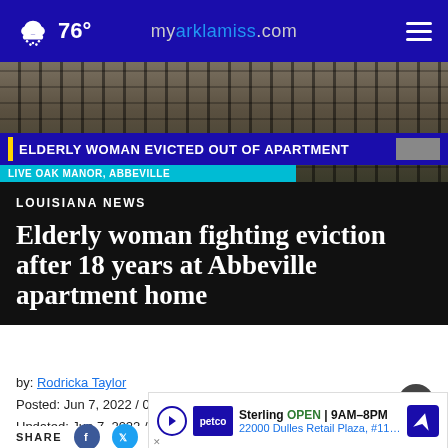76° myarklamiss.com
[Figure (screenshot): News broadcast screenshot showing 'ELDERLY WOMAN EVICTED OUT OF APARTMENT' banner with 'LIVE OAK MANOR, ABBEVILLE' subtitle over a fence background]
LOUISIANA NEWS
Elderly woman fighting eviction after 18 years at Abbeville apartment home
by: Rodricka Taylor
Posted: Jun 7, 2022 / 02:57 PM CDT
Updated: Jun 7, 2022 / 02:57 PM CDT
SHARE
[Figure (infographic): Ad banner: Sterling OPEN 9AM-8PM, 22000 Dulles Retail Plaza, #110, Ste — Petco sponsored advertisement with navigation icon]